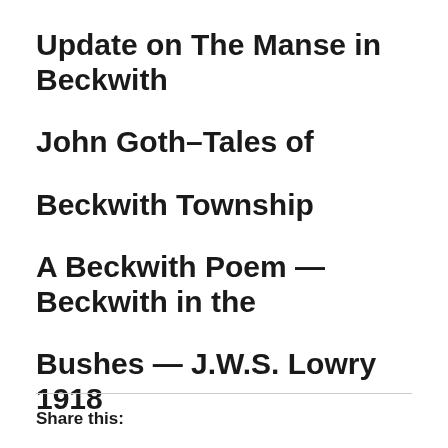Update on The Manse in Beckwith
John Goth–Tales of
Beckwith Township
A Beckwith Poem — Beckwith in the
Bushes — J.W.S. Lowry 1918
Share this: